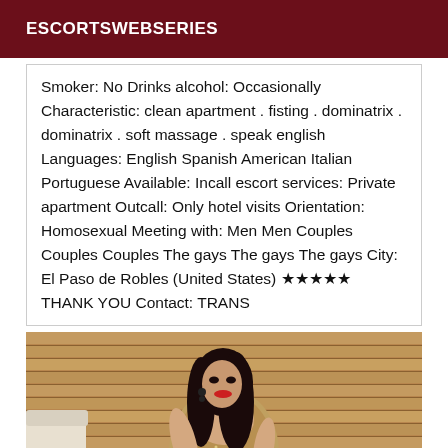ESCORTSWEBSERIES
Smoker: No Drinks alcohol: Occasionally Characteristic: clean apartment . fisting . dominatrix . dominatrix . soft massage . speak english Languages: English Spanish American Italian Portuguese Available: Incall escort services: Private apartment Outcall: Only hotel visits Orientation: Homosexual Meeting with: Men Men Couples Couples Couples The gays The gays The gays City: El Paso de Robles (United States) ★★★★★ THANK YOU Contact: TRANS
[Figure (photo): Woman with long dark hair, wearing a sparkly/sequined dress, posing in front of a wooden slatted wall background, seated on a chair with white cushion]